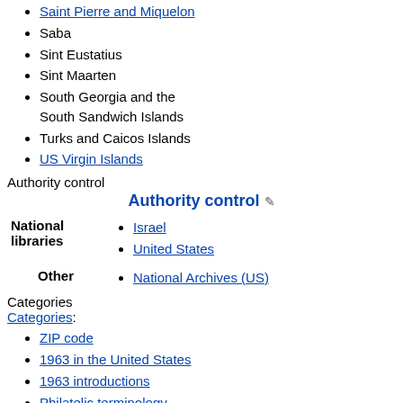Saint Pierre and Miquelon
Saba
Sint Eustatius
Sint Maarten
South Georgia and the South Sandwich Islands
Turks and Caicos Islands
US Virgin Islands
Authority control
Authority control
|  |  |
| --- | --- |
| National libraries | Israel
United States |
| Other | National Archives (US) |
Categories
Categories:
ZIP code
1963 in the United States
1963 introductions
Philatelic terminology
Postal codes by country